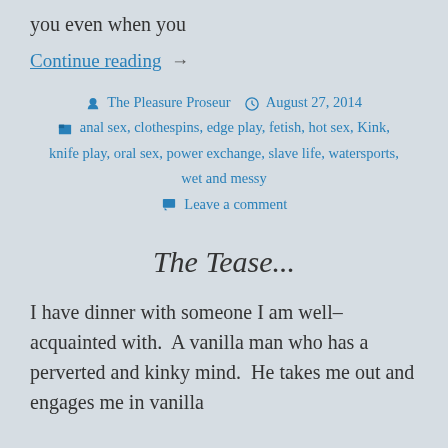you even when you
Continue reading →
The Pleasure Proseur   August 27, 2014   anal sex, clothespins, edge play, fetish, hot sex, Kink, knife play, oral sex, power exchange, slave life, watersports, wet and messy   Leave a comment
The Tease...
I have dinner with someone I am well-acquainted with.  A vanilla man who has a perverted and kinky mind.  He takes me out and engages me in vanilla